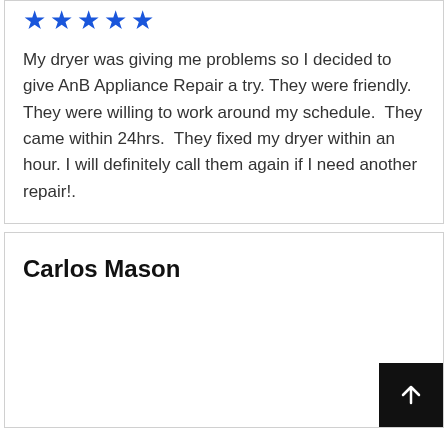[Figure (other): Five blue star rating icons]
My dryer was giving me problems so I decided to give AnB Appliance Repair a try. They were friendly.  They were willing to work around my schedule.  They came within 24hrs.  They fixed my dryer within an hour. I will definitely call them again if I need another repair!.
Carlos Mason